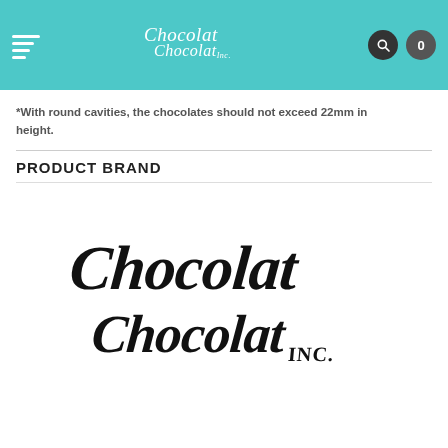Chocolat Chocolat Inc. - Navigation header with logo, search and cart
*With round cavities, the chocolates should not exceed 22mm in height.
PRODUCT BRAND
[Figure (logo): Chocolat Chocolat Inc. logo in decorative script lettering]